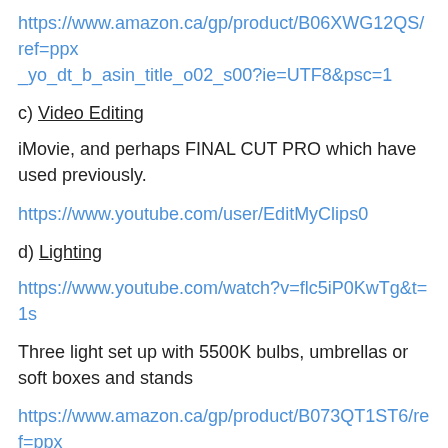https://www.amazon.ca/gp/product/B06XWG12QS/ref=ppx_yo_dt_b_asin_title_o02_s00?ie=UTF8&psc=1
c) Video Editing
iMovie, and perhaps FINAL CUT PRO which have used previously.
https://www.youtube.com/user/EditMyClips0
d) Lighting
https://www.youtube.com/watch?v=flc5iP0KwTg&t=1s
Three light set up with 5500K bulbs, umbrellas or soft boxes and stands
https://www.amazon.ca/gp/product/B073QT1ST6/ref=ppx_yo_dt_b_asin_title_o04_s00?ie=UTF8&psc=1